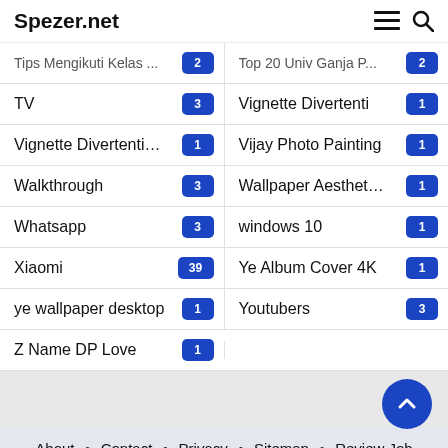Spezer.net
Tips Mengikuti Kelas ... 2 | Top 20 Univ Ganja P... 2
TV 3 | Vignette Divertenti 1
Vignette Divertenti pe... 1 | Vijay Photo Painting 1
Walkthrough 3 | Wallpaper Aesthetic B... 1
Whatsapp 3 | windows 10 1
Xiaomi 39 | Ye Album Cover 4K 1
ye wallpaper desktop 1 | Youtubers 3
Z Name DP Love 1
About • Contact • Privacy • Sitemap • Review Job
©2019 Spezer.net